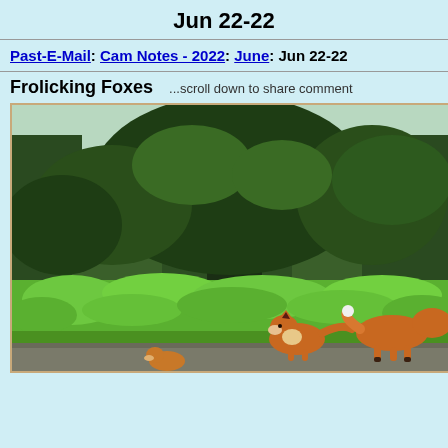Jun 22-22
Past-E-Mail: Cam Notes - 2022: June: Jun 22-22
Frolicking Foxes    ...scroll down to share comment
[Figure (photo): Two red foxes on a roadside path with lush green ferns and dense forest trees in the background]